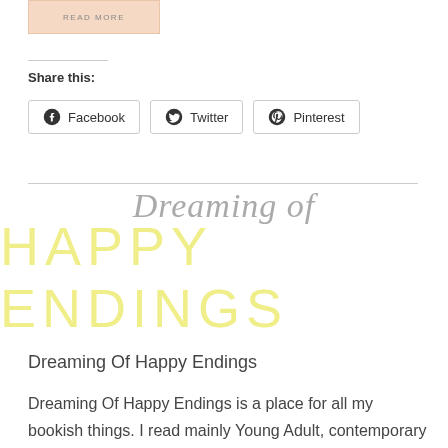[Figure (other): Read More button with peach/salmon background]
Share this:
[Figure (other): Social share buttons: Facebook, Twitter, Pinterest]
[Figure (illustration): Blog logo: 'Dreaming of HAPPY ENDINGS' in script and block letters, grey and yellow]
Dreaming Of Happy Endings
Dreaming Of Happy Endings is a place for all my bookish things. I read mainly Young Adult, contemporary being my…